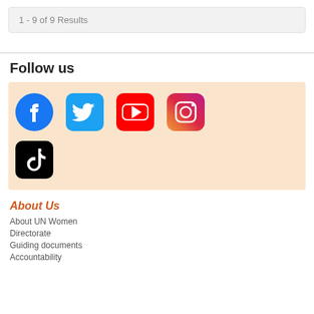1 - 9 of 9 Results
Follow us
[Figure (infographic): Social media icons: Facebook, Twitter, YouTube, Instagram, TikTok on a light orange background]
About Us
About UN Women
Directorate
Guiding documents
Accountability